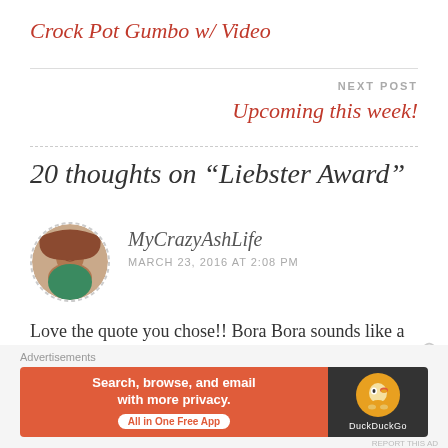Crock Pot Gumbo w/ Video
NEXT POST
Upcoming this week!
20 thoughts on “Liebster Award”
MyCrazyAshLife
MARCH 23, 2016 AT 2:08 PM
Love the quote you chose!! Bora Bora sounds like a great place to travel! Can I come? LOL!!
Advertisements
[Figure (other): DuckDuckGo advertisement banner: Search, browse, and email with more privacy. All in One Free App]